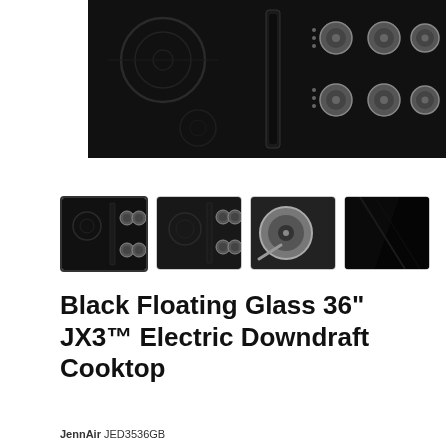[Figure (photo): Product photo showing a Black Floating Glass 36-inch JX3 Electric Downdraft Cooktop from above, with a black glass surface, circular burner zones on the left, a central downdraft vent, and four metallic knobs on the right side.]
[Figure (photo): Thumbnail 1 (selected): top-down view of the black cooktop with knobs visible on the right.]
[Figure (photo): Thumbnail 2: slightly different angle of the black cooktop showing knobs.]
[Figure (photo): Thumbnail 3: close-up of a metallic knob on the cooktop.]
[Figure (photo): Thumbnail 4: minimalist view of the black glass cooktop surface.]
Black Floating Glass 36" JX3™ Electric Downdraft Cooktop
JennAir JED3536GB